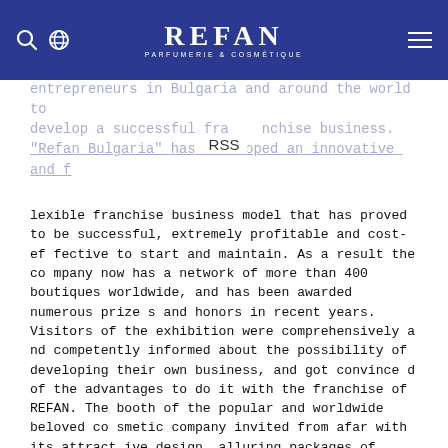REFAN PARFUMERIE & COSMETIQUE
entrepreneurs in Bulgaria and around the world to develop a successful franchise business. "Refan Bulgaria" has developed an innovative and flexible franchise business model that has proved to be successful, extremely profitable and cost-effective to start and maintain. As a result the company now has a network of more than 400 boutiques worldwide, and has been awarded numerous prizes and honors in recent years. Visitors of the exhibition were comprehensively and competently informed about the possibility of developing their own business, and got convinced of the advantages to do it with the franchise of REFAN. The booth of the popular and worldwide beloved cosmetic company invited from afar with its attractive design, alluring packages of cosmetic products, unique and aromatic glycerin soaps with natural ingredients, as well as with its handmade fragrant boutique candles. All the people interested in the exposure of "Refan Bulgaria" got personally convinced that the name of the company was a synonym of uncompromisi